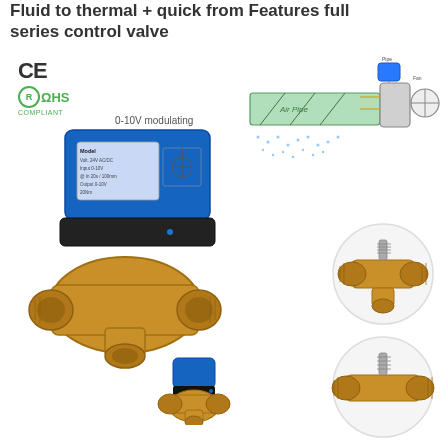Fluid to thermal + quick from Features full series control valve
[Figure (photo): CE and RoHS compliance logos]
[Figure (engineering-diagram): Schematic diagram showing air pipe system with control valve installation and spray nozzles]
[Figure (photo): Main product photo: motorized 3-way brass ball control valve with blue actuator displaying 0-10V modulating label, plus small secondary valve photo below]
[Figure (photo): 3-way brass valve body closeup in circular frame]
[Figure (photo): 2-way brass valve body closeup in circular frame]